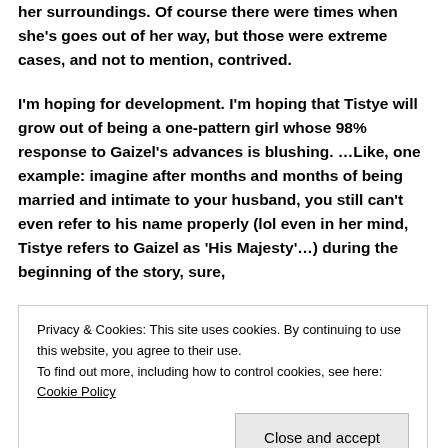her surroundings. Of course there were times when she's goes out of her way, but those were extreme cases, and not to mention, contrived.
I'm hoping for development. I'm hoping that Tistye will grow out of being a one-pattern girl whose 98% response to Gaizel's advances is blushing. …Like, one example: imagine after months and months of being married and intimate to your husband, you still can't even refer to his name properly (lol even in her mind, Tistye refers to Gaizel as 'His Majesty'…) during the beginning of the story, sure,
Privacy & Cookies: This site uses cookies. By continuing to use this website, you agree to their use.
To find out more, including how to control cookies, see here: Cookie Policy
Close and accept
...